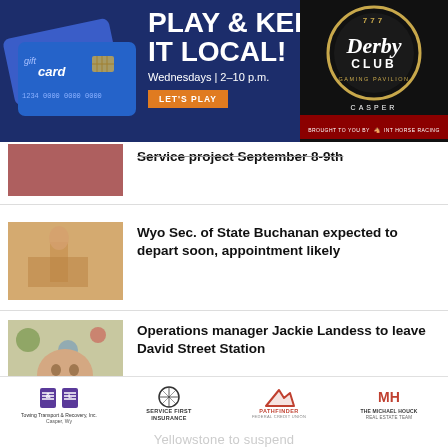[Figure (infographic): Advertisement banner for 777 Derby Club Gaming Pavilion in Casper. Dark blue background with gift cards graphic on left, text 'PLAY & KEEP IT LOCAL! Wednesdays | 2–10 p.m.' with orange 'LET'S PLAY' button in center, and Derby Club circular logo on dark right panel.]
Service project September 8-9th
Wyo Sec. of State Buchanan expected to depart soon, appointment likely
Operations manager Jackie Landess to leave David Street Station
[Figure (infographic): Sponsor logos bar: Towing Transport & Recovery Inc. Casper Wy, Service First Insurance, Pathfinder Federal Credit Union, The Michael Houck Real Estate Team]
Yellowstone to suspend